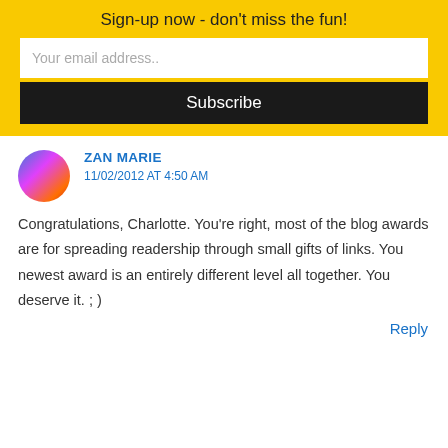Sign-up now - don't miss the fun!
Your email address..
Subscribe
ZAN MARIE
11/02/2012 AT 4:50 AM
Congratulations, Charlotte. You're right, most of the blog awards are for spreading readership through small gifts of links. You newest award is an entirely different level all together. You deserve it. ; )
Reply